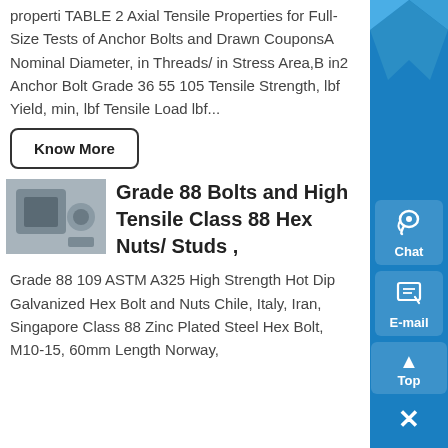properti TABLE 2 Axial Tensile Properties for Full-Size Tests of Anchor Bolts and Drawn CouponsA Nominal Diameter, in Threads/ in Stress Area,B in2 Anchor Bolt Grade 36 55 105 Tensile Strength, lbf Yield, min, lbf Tensile Load lbf...
Know More
[Figure (photo): Photo of industrial equipment, appears to be a machine or motor unit]
Grade 88 Bolts and High Tensile Class 88 Hex Nuts/ Studs ,
Grade 88 109 ASTM A325 High Strength Hot Dip Galvanized Hex Bolt and Nuts Chile, Italy, Iran, Singapore Class 88 Zinc Plated Steel Hex Bolt, M10-15, 60mm Length Norway,